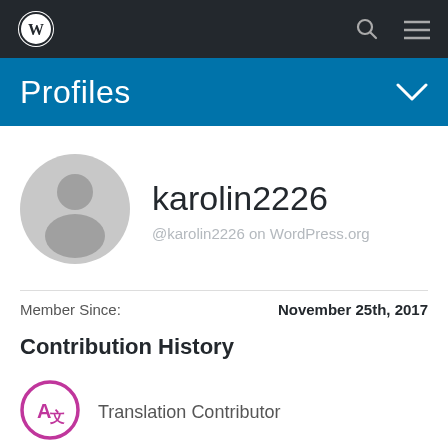WordPress navigation bar with logo, search, and menu icons
Profiles
[Figure (illustration): Grey default user avatar circle with silhouette]
karolin2226
@karolin2226 on WordPress.org
Member Since: November 25th, 2017
Contribution History
[Figure (logo): Translation contributor icon — circle with A/letter translation symbol in pink/magenta]
Translation Contributor